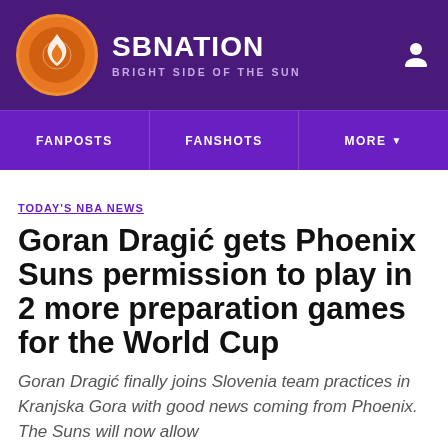SBNATION BRIGHT SIDE OF THE SUN
FANPOSTS | FANSHOTS | MORE
TODAY'S NBA NEWS
Goran Dragić gets Phoenix Suns permission to play in 2 more preparation games for the World Cup
Goran Dragić finally joins Slovenia team practices in Kranjska Gora with good news coming from Phoenix. The Suns will now allow